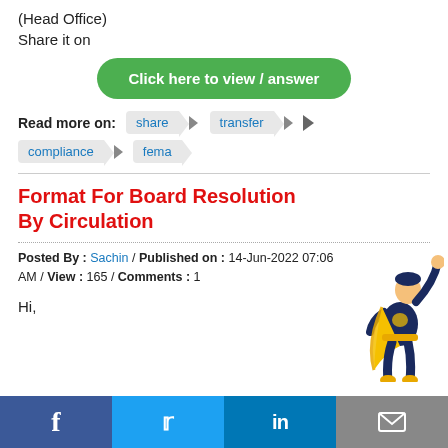(Head Office)
Share it on
Click here to view / answer
Read more on:  share  transfer  compliance  fema
Format For Board Resolution By Circulation
Posted By : Sachin / Published on : 14-Jun-2022 07:06 AM / View : 165 / Comments : 1
Hi,
[Figure (illustration): Superhero character illustration in yellow and dark blue costume]
Facebook  Twitter  LinkedIn  Email